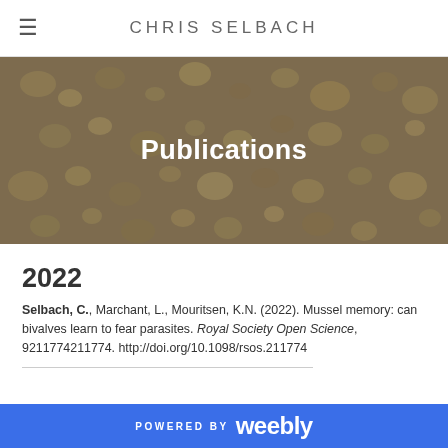CHRIS SELBACH
[Figure (photo): Hero banner image of seashells and snail shells on a beach, overlaid with the text 'Publications' in white bold font.]
Publications
2022
Selbach, C., Marchant, L., Mouritsen, K.N. (2022). Mussel memory: can bivalves learn to fear parasites. Royal Society Open Science, 9211774211774. http://doi.org/10.1098/rsos.211774
POWERED BY weebly